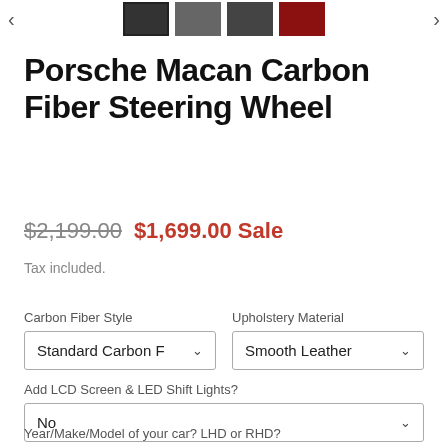[Figure (screenshot): Product thumbnail image strip with left arrow, 4 thumbnails (first selected), and right arrow]
Porsche Macan Carbon Fiber Steering Wheel
$2,199.00 $1,699.00 Sale
Tax included.
Carbon Fiber Style
Standard Carbon F
Upholstery Material
Smooth Leather
Add LCD Screen & LED Shift Lights?
No
Year/Make/Model of your car? LHD or RHD?